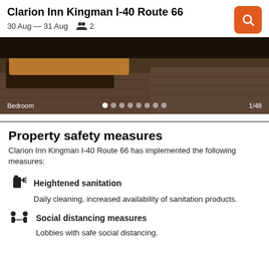Clarion Inn Kingman I-40 Route 66
30 Aug — 31 Aug  👥 2
[Figure (photo): Hotel bedroom photo showing bed and carpeted floor, with 'Bedroom' label at bottom left, dot navigation indicators, and '1/48' counter at bottom right]
Property safety measures
Clarion Inn Kingman I-40 Route 66 has implemented the following measures:
Heightened sanitation — Daily cleaning, increased availability of sanitation products.
Social distancing measures — Lobbies with safe social distancing.